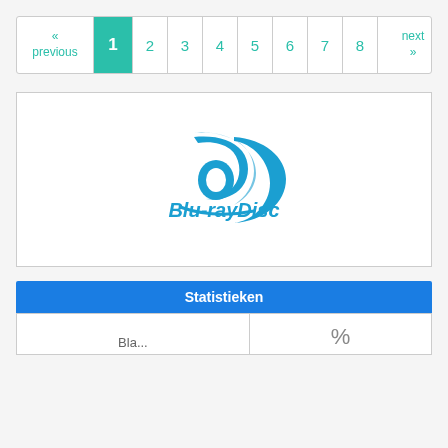« previous  1  2  3  4  5  6  7  8  next »
[Figure (logo): Blu-ray Disc logo with stylized 'b' icon in blue and 'Blu-rayDisc' text below in blue italic font, inside a white bordered box]
Statistieken
| Bla... | % |